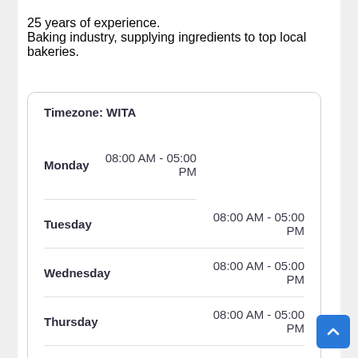25 years of experience. Baking industry, supplying ingredients to top local bakeries.
| Day | Hours |
| --- | --- |
| Monday | 08:00 AM - 05:00 PM |
| Tuesday | 08:00 AM - 05:00 PM |
| Wednesday | 08:00 AM - 05:00 PM |
| Thursday | 08:00 AM - 05:00 PM |
| Friday | 08:00 AM - 05:00 PM |
| Saturday | Closed |
| Sunday | Closed |